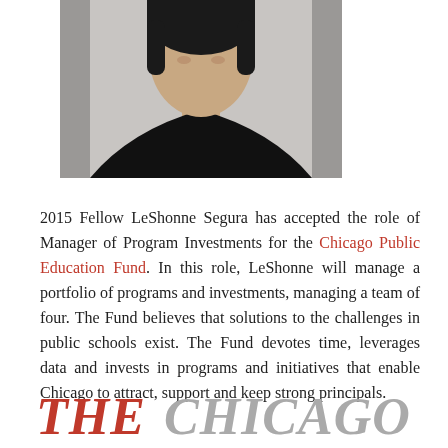[Figure (photo): Partial photo of a person wearing a black top, cropped showing upper body and shoulders against a light/grey background]
2015 Fellow LeShonne Segura has accepted the role of Manager of Program Investments for the Chicago Public Education Fund. In this role, LeShonne will manage a portfolio of programs and investments, managing a team of four. The Fund believes that solutions to the challenges in public schools exist. The Fund devotes time, leverages data and invests in programs and initiatives that enable Chicago to attract, support and keep strong principals.
[Figure (logo): THE CHICAGO — partial logo text in red italic and grey italic large serif/sans font at bottom of page]